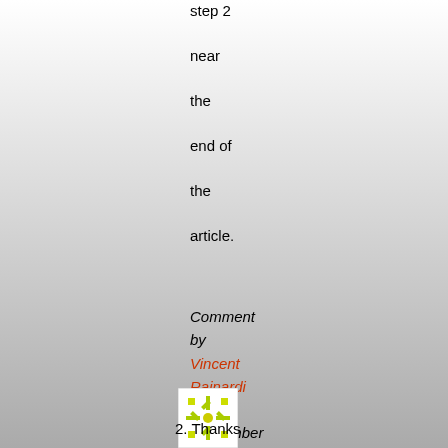step 2 near the end of the article.
Comment by Vincent Rainardi — 21 September 2011 @ 6:54 pm | Reply
[Figure (illustration): Small avatar image with a green geometric snowflake/star pattern on white background]
2. Thanks